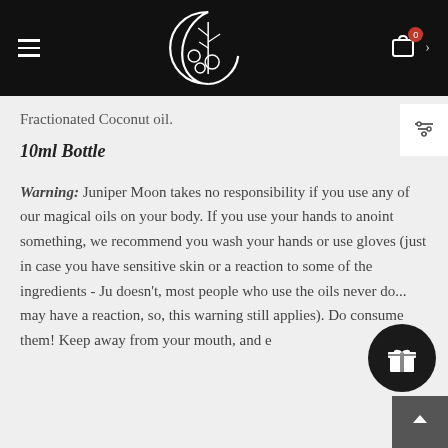Juniper Moon website header with logo, hamburger menu, and cart icon with badge 0
...apply, packaging your...Fractionated Coconut oil.
10ml Bottle
Warning: Juniper Moon takes no responsibility if you use any of our magical oils on your body. If you use your hands to anoint something, we recommend you wash your hands or use gloves (just in case you have sensitive skin or a reaction to some of the ingredients - Ju... doesn't, most people who use the oils never do... may have a reaction, so, this warning still applies). Do... consume them! Keep away from your mouth, and e...